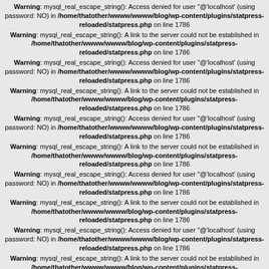Warning: mysql_real_escape_string(): Access denied for user ''@'localhost' (using password: NO) in /home/thatother/wwww/wwww/blog/wp-content/plugins/statpress-reloaded/statpress.php on line 1786
Warning: mysql_real_escape_string(): A link to the server could not be established in /home/thatother/wwww/wwww/blog/wp-content/plugins/statpress-reloaded/statpress.php on line 1786
Warning: mysql_real_escape_string(): Access denied for user ''@'localhost' (using password: NO) in /home/thatother/wwww/wwww/blog/wp-content/plugins/statpress-reloaded/statpress.php on line 1786
Warning: mysql_real_escape_string(): A link to the server could not be established in /home/thatother/wwww/wwww/blog/wp-content/plugins/statpress-reloaded/statpress.php on line 1786
Warning: mysql_real_escape_string(): Access denied for user ''@'localhost' (using password: NO) in /home/thatother/wwww/wwww/blog/wp-content/plugins/statpress-reloaded/statpress.php on line 1786
Warning: mysql_real_escape_string(): A link to the server could not be established in /home/thatother/wwww/wwww/blog/wp-content/plugins/statpress-reloaded/statpress.php on line 1786
Warning: mysql_real_escape_string(): Access denied for user ''@'localhost' (using password: NO) in /home/thatother/wwww/wwww/blog/wp-content/plugins/statpress-reloaded/statpress.php on line 1786
Warning: mysql_real_escape_string(): A link to the server could not be established in /home/thatother/wwww/wwww/blog/wp-content/plugins/statpress-reloaded/statpress.php on line 1786
Warning: mysql_real_escape_string(): Access denied for user ''@'localhost' (using password: NO) in /home/thatother/wwww/wwww/blog/wp-content/plugins/statpress-reloaded/statpress.php on line 1786
Warning: mysql_real_escape_string(): A link to the server could not be established in /home/thatother/wwww/wwww/blog/wp-content/plugins/statpress-reloaded/statpress.php on line 1786